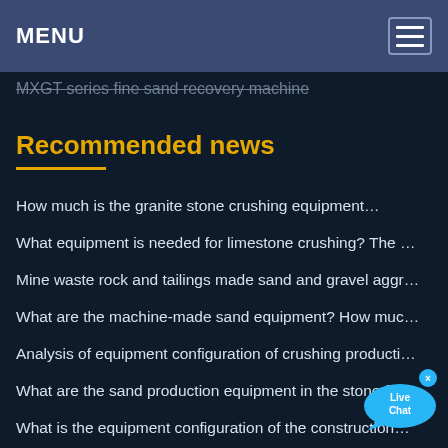MENU
MXGT series fine sand recovery machine
Recommended news
How much is the granite stone crushing equipment…
What equipment is needed for limestone crushing? The …
Mine waste rock and tailings made sand and gravel aggr…
What are the machine-made sand equipment? How muc…
Analysis of equipment configuration of crushing producti…
What are the sand production equipment in the stone fa…
What is the equipment configuration of the construction…
What kind of crusher is good for crushing bluestone? Att…